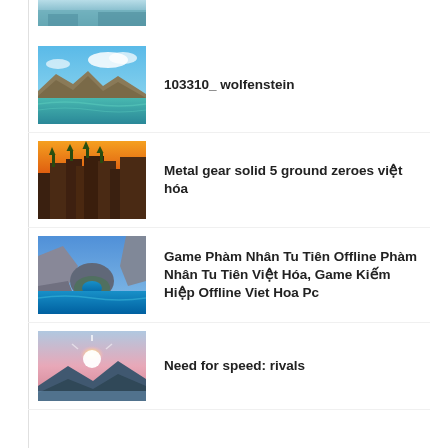[Figure (photo): Partial scenic/beach thumbnail at top of page, cropped]
103310_ wolfenstein
[Figure (photo): Beach and rocky coastline with clear turquoise water and sky]
Metal gear solid 5 ground zeroes việt hóa
[Figure (photo): Canyon with orange/red rock formations at sunset with trees on top]
Game Phàm Nhân Tu Tiên Offline Phàm Nhân Tu Tiên Việt Hóa, Game Kiếm Hiệp Offline Viet Hoa Pc
[Figure (photo): Greek island coastline with sea arch and blue water]
Need for speed: rivals
[Figure (photo): Sunset over lake/mountains with bright sun and pink sky, partial view]